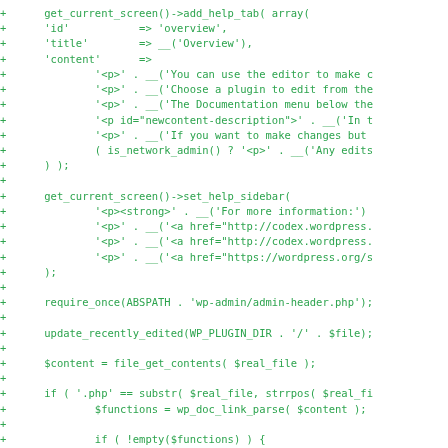[Figure (screenshot): A code diff screenshot showing PHP code additions (lines prefixed with '+') in green monospace font on white background. The code shows WordPress plugin editor functions including get_current_screen()->add_help_tab(), get_current_screen()->set_help_sidebar(), require_once(), update_recently_edited(), file_get_contents(), and conditional logic with if statements.]